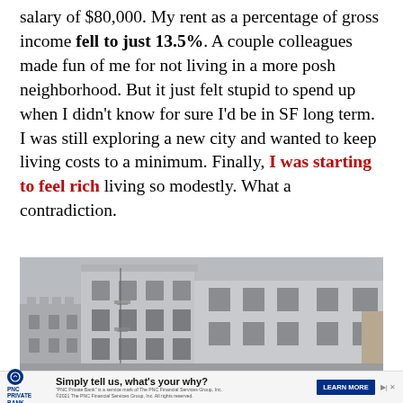salary of $80,000. My rent as a percentage of gross income fell to just 13.5%. A couple colleagues made fun of me for not living in a more posh neighborhood. But it just felt stupid to spend up when I didn't know for sure I'd be in SF long term. I was still exploring a new city and wanted to keep living costs to a minimum. Finally, I was starting to feel rich living so modestly. What a contradiction.
[Figure (photo): Exterior photo of grey/white stucco apartment buildings in San Francisco, showing fire escapes and arched windows against an overcast sky.]
Simply tell us, what's your why? LEARN MORE — PNC Private Bank advertisement. "PNC Private Bank" is a service mark of The PNC Financial Services Group, Inc. ©2021 The PNC Financial Services Group, Inc. All rights reserved.